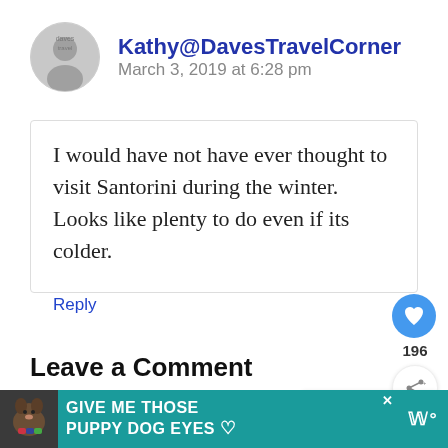Kathy@DavesTravelCorner
March 3, 2019 at 6:28 pm
I would have not have ever thought to visit Santorini during the winter. Looks like plenty to do even if its colder.
Reply
196
WHAT'S NEXT → A Guide to Emporio,...
Leave a Comment
[Figure (infographic): Advertisement banner: teal background with dog photo, text 'GIVE ME THOSE PUPPY DOG EYES' with heart icon, close button, and logo]
[Figure (photo): Circular avatar showing Kathy@DavesTravelCorner profile photo from DavesTravelCorner]
[Figure (photo): Small thumbnail image for What's Next - A Guide to Emporio]